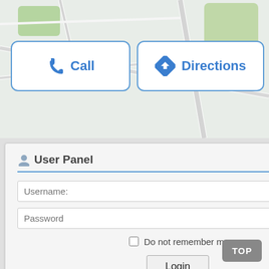[Figure (map): Map background with road lines, green areas visible at top]
[Figure (screenshot): Call button with phone icon, blue border, white background]
[Figure (screenshot): Directions button with blue diamond turn arrow icon, blue border, white background]
User Panel
Username:
Password
Do not remember me
Login
Register | Forgot?
LovePik - small fr
Written by uploader. Posted in
[Figure (photo): Gray image placeholder]
TOP